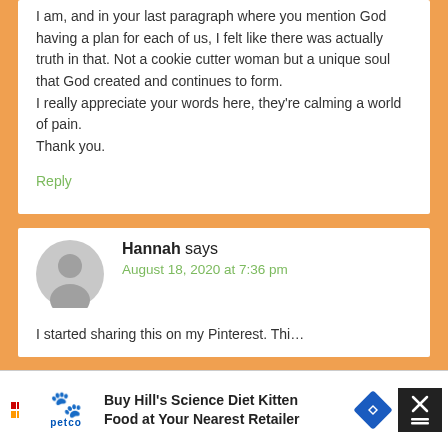I am, and in your last paragraph where you mention God having a plan for each of us, I felt like there was actually truth in that. Not a cookie cutter woman but a unique soul that God created and continues to form.
I really appreciate your words here, they're calming a world of pain.
Thank you.
Reply
Hannah says
August 18, 2020 at 7:36 pm
I started sharing this on my Pinterest. Thi...
Buy Hill's Science Diet Kitten Food at Your Nearest Retailer